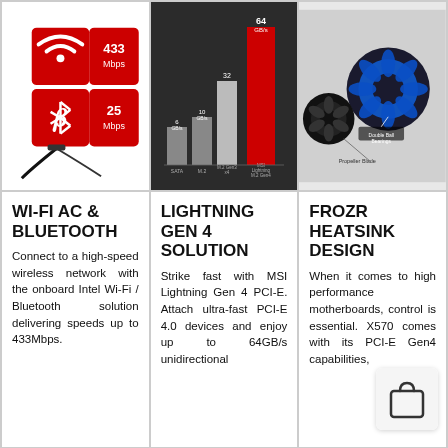[Figure (photo): Wi-Fi AC and Bluetooth module showing red tiles with 433 Mbps and 25 Mbps speeds, and antenna]
[Figure (bar-chart): Storage speed comparison]
[Figure (photo): FROZR heatsink design showing double ball bearings and propeller blade fan]
WI-FI AC & BLUETOOTH
Connect to a high-speed wireless network with the onboard Intel Wi-Fi / Bluetooth solution delivering speeds up to 433Mbps.
LIGHTNING GEN 4 SOLUTION
Strike fast with MSI Lightning Gen 4 PCI-E. Attach ultra-fast PCI-E 4.0 devices and enjoy up to 64GB/s unidirectional
FROZR HEATSINK DESIGN
When it comes to high performance motherboards, control is essential. X570 comes with its PCI-E Gen4 capabilities,